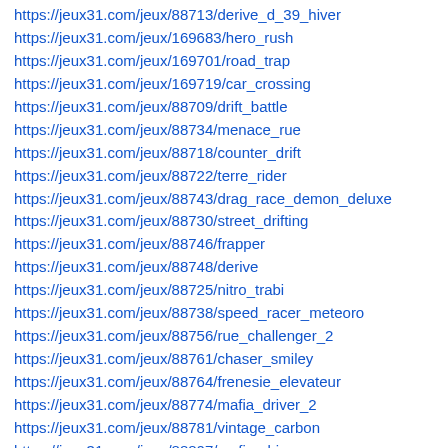https://jeux31.com/jeux/88713/derive_d_39_hiver
https://jeux31.com/jeux/169683/hero_rush
https://jeux31.com/jeux/169701/road_trap
https://jeux31.com/jeux/169719/car_crossing
https://jeux31.com/jeux/88709/drift_battle
https://jeux31.com/jeux/88734/menace_rue
https://jeux31.com/jeux/88718/counter_drift
https://jeux31.com/jeux/88722/terre_rider
https://jeux31.com/jeux/88743/drag_race_demon_deluxe
https://jeux31.com/jeux/88730/street_drifting
https://jeux31.com/jeux/88746/frapper
https://jeux31.com/jeux/88748/derive
https://jeux31.com/jeux/88725/nitro_trabi
https://jeux31.com/jeux/88738/speed_racer_meteoro
https://jeux31.com/jeux/88756/rue_challenger_2
https://jeux31.com/jeux/88761/chaser_smiley
https://jeux31.com/jeux/88764/frenesie_elevateur
https://jeux31.com/jeux/88774/mafia_driver_2
https://jeux31.com/jeux/88781/vintage_carbon
https://jeux31.com/jeux/88807/mafia_driver
https://jeux31.com/jeux/88811/drivers_ed
https://jeux31.com/jeux/88813/carbon_auto_theft
https://jeux31.com/jeux/88780/taxi_driving_school
https://jeux31.com/jeux/88792/rue_challenger
https://jeux31.com/jeux/88759/london_cabbie